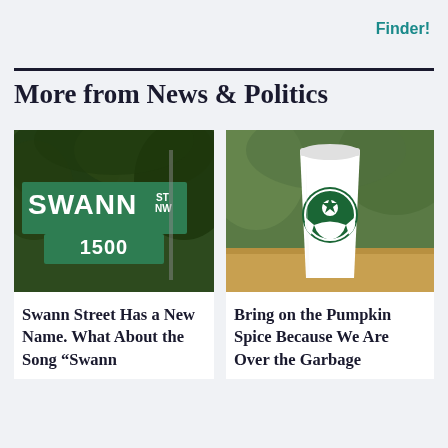Finder!
More from News & Politics
[Figure (photo): Street sign showing SWANN ST NW 1500 on a green sign with dark tree foliage background]
[Figure (photo): White Starbucks cup with green Starbucks logo sitting on a wooden surface with blurred green background]
Swann Street Has a New Name. What About the Song “Swann
Bring on the Pumpkin Spice Because We Are Over the Garbage